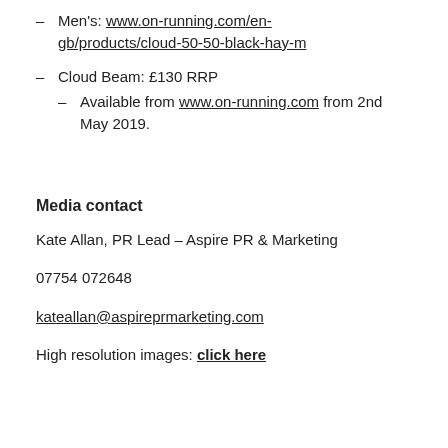Men's: www.on-running.com/en-gb/products/cloud-50-50-black-hay-m
Cloud Beam: £130 RRP
Available from www.on-running.com from 2nd May 2019.
Media contact
Kate Allan, PR Lead – Aspire PR & Marketing
07754 072648
kateallan@aspireprmarketing.com
High resolution images: click here